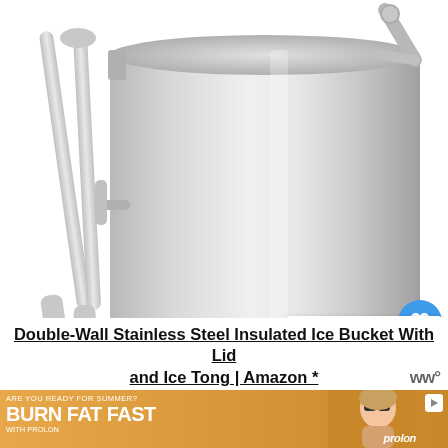[Figure (photo): Stainless steel double-wall insulated ice bucket with a carry handle and tongs clipped to the side, on a white background. UI overlay includes a heart (favorite) button and a share button on the right side.]
WHAT'S NEXT → Asparagus season:...
Double-Wall Stainless Steel Insulated Ice Bucket With Lid and Ice Tong | Amazon *
[Figure (photo): Advertisement banner: orange/tan gradient background. Text reads 'ARE YOU READY FOR SUMMER? BURN FAT FAST WITH PROLON'. Shows a woman in sunglasses. ProLon logo visible. Arrow/play button icon in top right of ad.]